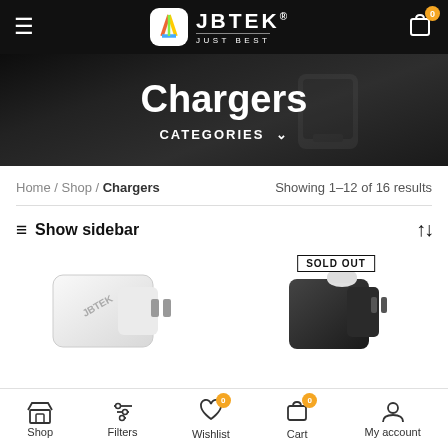JBTEK JUST BEST — Navigation header with logo, menu, and cart
[Figure (screenshot): JBTEK Chargers category banner with dark background showing charging device]
Chargers
CATEGORIES ∨
Home / Shop / Chargers
Showing 1–12 of 16 results
≡ Show sidebar
SOLD OUT
[Figure (photo): White JBTEK charger product image]
[Figure (photo): Black JBTEK charger product image (sold out)]
Shop | Filters | Wishlist (0) | Cart (0) | My account